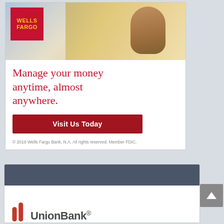[Figure (photo): Wells Fargo advertisement card. Top section shows a photo of a man smiling and looking at his phone outdoors, with the red Wells Fargo logo box (yellow text) in the upper-left corner of the image.]
Manage your money anytime, almost anywhere.
Visit Us Today
© 2019 Wells Fargo Bank, N.A. All rights reserved. Member FDIC.
[Figure (logo): Union Bank logo section: dark navy header bar above a white area showing the partial Union Bank logo — red stylized double-pillar icon and 'UnionBank' text in dark gray — partially cut off at the bottom of the page.]